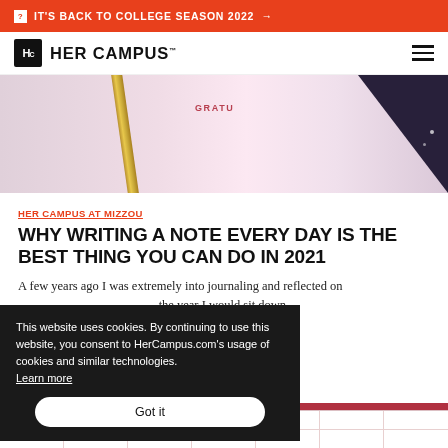IT'S BACK TO COLLEGE SEASON 2022 →
[Figure (logo): Her Campus logo with Hc monogram box and HER CAMPUS wordmark]
[Figure (photo): Hero image showing a pink gratitude journal notebook with a gold pen and dark background corner]
HER CAMPUS AT MIZZOU
WHY WRITING A NOTE EVERY DAY IS THE BEST THING YOU CAN DO IN 2021
A few years ago I was extremely into journaling and reflected on the year I would sit down
This website uses cookies. By continuing to use this website, you consent to HerCampus.com's usage of cookies and similar technologies. Learn more
Got it